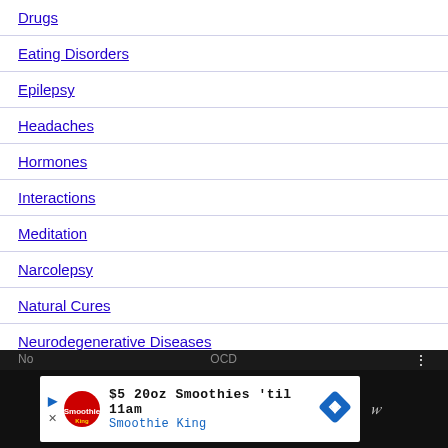Drugs
Eating Disorders
Epilepsy
Headaches
Hormones
Interactions
Meditation
Narcolepsy
Natural Cures
Neurodegenerative Diseases
Neurostimulation
Neurotransmitters
No... OCD... $5 20oz Smoothies 'til 11am Smoothie King